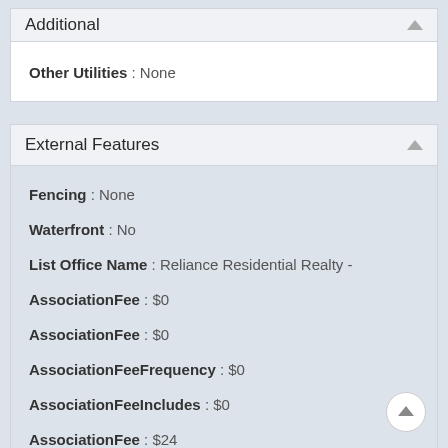Additional
Other Utilities : None
External Features
Fencing : None
Waterfront : No
List Office Name : Reliance Residential Realty -
AssociationFee : $0
AssociationFee : $0
AssociationFeeFrequency : $0
AssociationFeeIncludes : $0
AssociationFee : $24